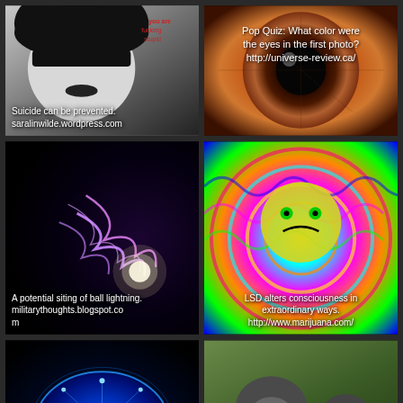[Figure (photo): Black and white photo of a gothic girl with dark hair and dark lipstick, text overlay mentioning suicide prevention]
[Figure (photo): Close-up macro photo of a human eye with orange/brown iris]
[Figure (photo): Dark image with pink/purple lightning bolts suggesting ball lightning]
[Figure (photo): Psychedelic colorful swirling pattern with a smiley emoji face]
[Figure (photo): Blue digital circuit brain illustration on dark background]
[Figure (photo): Two chimpanzees, one appears to be grooming or examining the other]